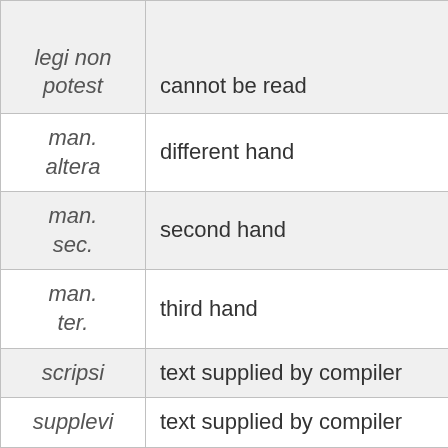| Term | Meaning |
| --- | --- |
| legi non potest | cannot be read |
| man. altera | different hand |
| man. sec. | second hand |
| man. ter. | third hand |
| scripsi | text supplied by compiler |
| supplevi | text supplied by compiler |
| < > | text supplied by compiler |
| [ ], [ | addition by compiler |